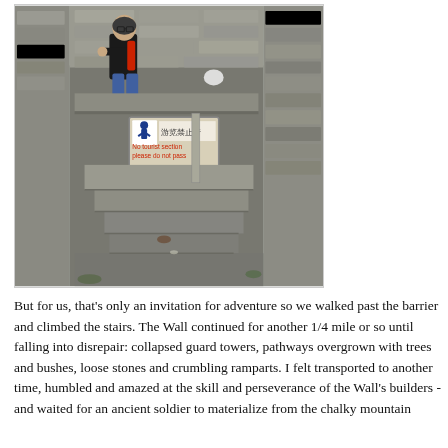[Figure (photo): A man leaning on a stone wall section of the Great Wall of China, posing next to a sign that reads 'No tourist section, please do not pass' with Chinese text above. The wall shows large stone blocks and steps leading downward. The scene is overcast.]
But for us, that's only an invitation for adventure so we walked past the barrier and climbed the stairs. The Wall continued for another 1/4 mile or so until falling into disrepair: collapsed guard towers, pathways overgrown with trees and bushes, loose stones and crumbling ramparts. I felt transported to another time, humbled and amazed at the skill and perseverance of the Wall's builders - and waited for an ancient soldier to materialize from the chalky mountain